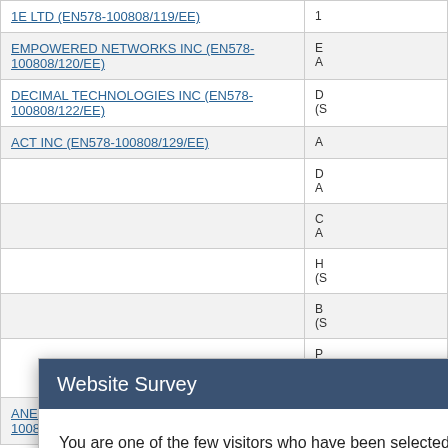| Supplier Name | Description |
| --- | --- |
| 1E LTD (EN578-100808/119/EE) | 1... |
| EMPOWERED NETWORKS INC (EN578-100808/120/EE) | E... A... |
| DECIMAL TECHNOLOGIES INC (EN578-100808/122/EE) | D... (S... |
| ACT INC (EN578-100808/129/EE) | A... |
| ANET SOLUTIONS INC (EN578-100808/140/EE) | A... |
[Figure (screenshot): Website Survey modal dialog with title 'Website Survey', close button (×), body text: 'You are one of the few visitors who have been selected to share your feedback. Please take less than 5 minutes at the end of your visit to answer 6 questions about your experience online.', and two buttons: 'Yes, after my visit.' and 'No, thank you.']